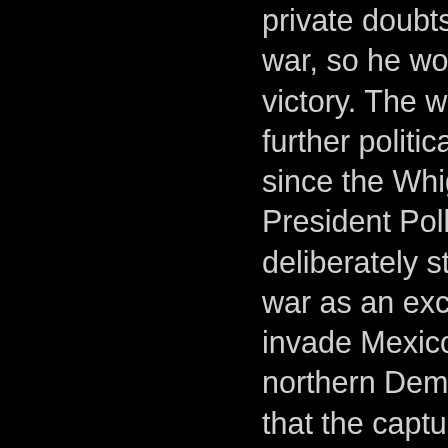private doubts about the war, so he won a decisive victory. The war created further political controversy since the Whigs accused President Polk of deliberately starting the war as an excuse to invade Mexico, while northern Democrats feared that the captured territory would become slave states.

The Whigs were determined to regain the White House, and Lincoln proved to be a